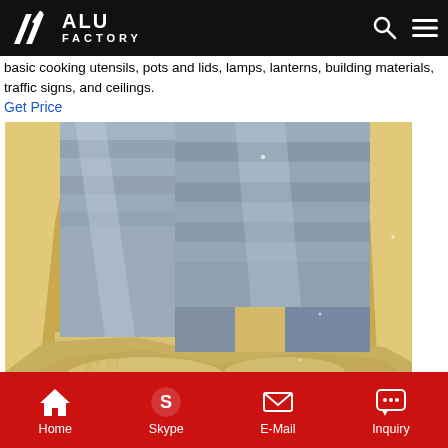ALU FACTORY
basic cooking utensils, pots and lids, lamps, lanterns, building materials, traffic signs, and ceilings.
Get Price
[Figure (photo): Photo of aluminum sheets wrapped in yellow/cream protective packaging material, showing metallic silver-gray aluminum sheet surfaces with a reflective finish.]
Home  Skype  E-Mail  Inquiry